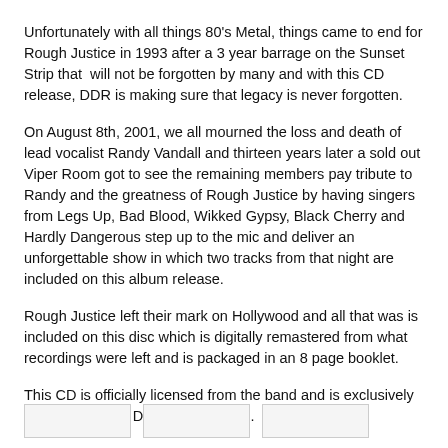Unfortunately with all things 80's Metal, things came to end for Rough Justice in 1993 after a 3 year barrage on the Sunset Strip that will not be forgotten by many and with this CD release, DDR is making sure that legacy is never forgotten.
On August 8th, 2001, we all mourned the loss and death of lead vocalist Randy Vandall and thirteen years later a sold out Viper Room got to see the remaining members pay tribute to Randy and the greatness of Rough Justice by having singers from Legs Up, Bad Blood, Wikked Gypsy, Black Cherry and Hardly Dangerous step up to the mic and deliver an unforgettable show in which two tracks from that night are included on this album release.
Rough Justice left their mark on Hollywood and all that was is included on this disc which is digitally remastered from what recordings were left and is packaged in an 8 page booklet.
This CD is officially licensed from the band and is exclusively available @ The DDR Music Group.
[Figure (other): Three small thumbnail images/boxes at the bottom of the page]